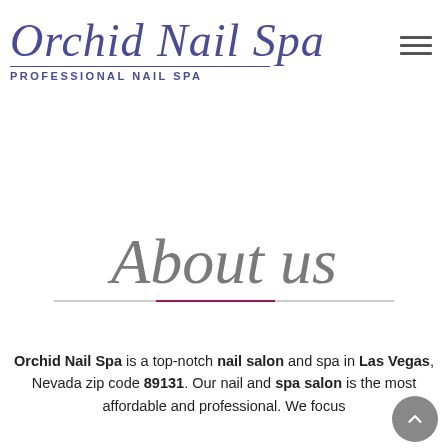Orchid Nail Spa — PROFESSIONAL NAIL SPA
About us
Orchid Nail Spa is a top-notch nail salon and spa in Las Vegas, Nevada zip code 89131. Our nail and spa salon is the most affordable and professional. We focus